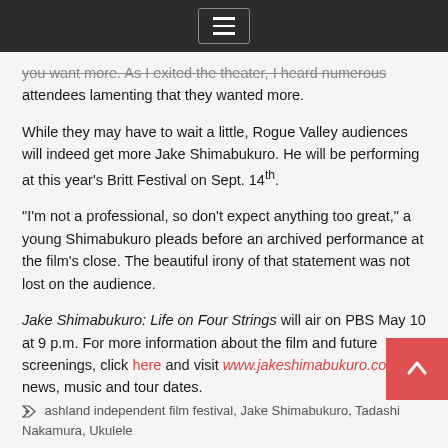[hamburger menu icon]
you want more. As I exited the theater, I heard numerous attendees lamenting that they wanted more.
While they may have to wait a little, Rogue Valley audiences will indeed get more Jake Shimabukuro. He will be performing at this year's Britt Festival on Sept. 14th.
“I’m not a professional, so don’t expect anything too great,” a young Shimabukuro pleads before an archived performance at the film’s close. The beautiful irony of that statement was not lost on the audience.
Jake Shimabukuro: Life on Four Strings will air on PBS May 10 at 9 p.m. For more information about the film and future screenings, click here and visit www.jakeshimabukuro.com for news, music and tour dates.
ashland independent film festival, Jake Shimabukuro, Tadashi Nakamura, Ukulele